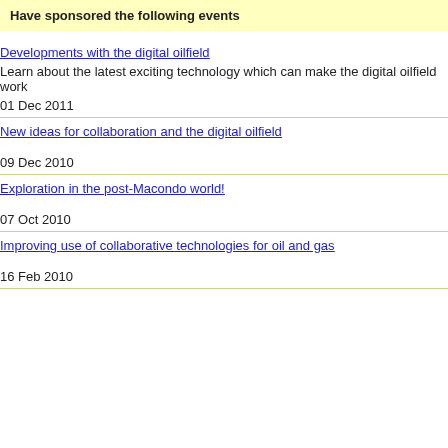Have sponsored the following events
Developments with the digital oilfield
Learn about the latest exciting technology which can make the digital oilfield work
01 Dec 2011
New ideas for collaboration and the digital oilfield
09 Dec 2010
Exploration in the post-Macondo world!
07 Oct 2010
Improving use of collaborative technologies for oil and gas
16 Feb 2010